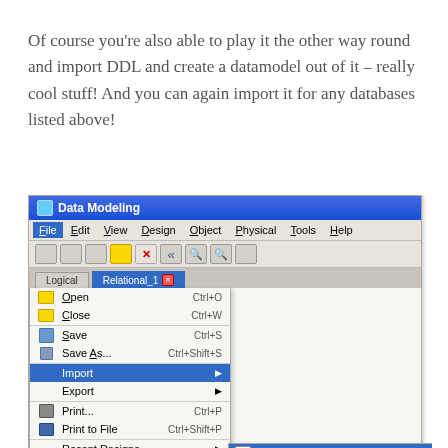Of course you’re also able to play it the other way round and import DDL and create a datamodel out of it – really cool stuff! And you can again import it for any databases listed above!
[Figure (screenshot): Screenshot of a Data Modeling application showing the File menu open with Import submenu expanded, highlighting DDL File option with keyboard shortcut Ctrl+Shift+D. Other submenu items include Qube Views Metadata, VAR File, From Microsoft XMLA, Oracle WB Metadata, ERwin 4.x File, DB Catalog, and a partially visible item.]